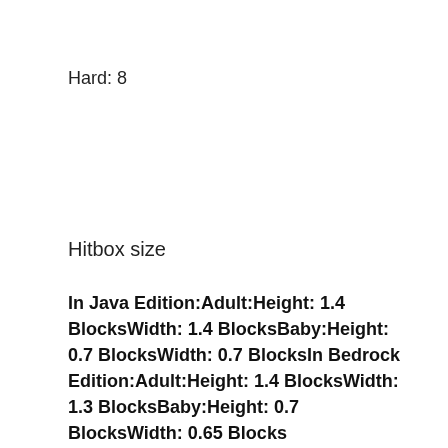Hard: 8
Hitbox size
In Java Edition:Adult:Height: 1.4 BlocksWidth: 1.4 BlocksBaby:Height: 0.7 BlocksWidth: 0.7 BlocksIn Bedrock Edition:Adult:Height: 1.4 BlocksWidth: 1.3 BlocksBaby:Height: 0.7 BlocksWidth: 0.65 Blocks